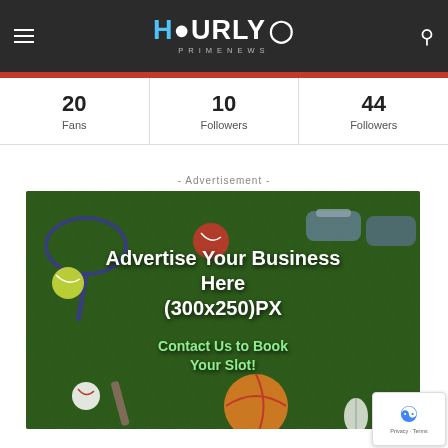HOURLY PRIME NEWS
20 Fans | 10 Followers | 44 Followers
- Advertisement -
[Figure (photo): Sports equipment on grass background with advertising text: 'Advertise Your Business Here (300x250)PX — Contact Us to Book Your Slot!']